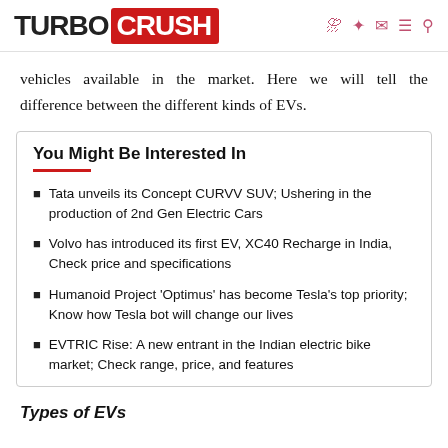TURBO CRUSH
vehicles available in the market. Here we will tell the difference between the different kinds of EVs.
You Might Be Interested In
Tata unveils its Concept CURVV SUV; Ushering in the production of 2nd Gen Electric Cars
Volvo has introduced its first EV, XC40 Recharge in India, Check price and specifications
Humanoid Project 'Optimus' has become Tesla's top priority; Know how Tesla bot will change our lives
EVTRIC Rise: A new entrant in the Indian electric bike market; Check range, price, and features
Types of EVs